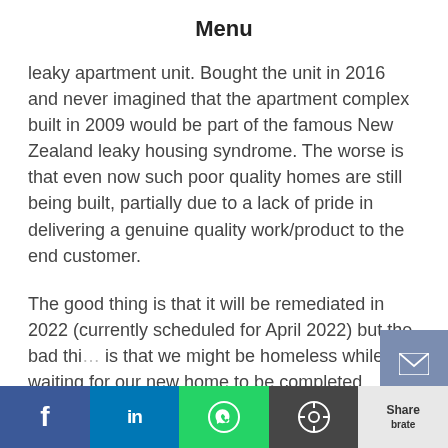Menu
leaky apartment unit. Bought the unit in 2016 and never imagined that the apartment complex built in 2009 would be part of the famous New Zealand leaky housing syndrome. The worse is that even now such poor quality homes are still being built, partially due to a lack of pride in delivering a genuine quality work/product to the end customer.
The good thing is that it will be remediated in 2022 (currently scheduled for April 2022) but the bad thing is that we might be homeless while waiting for our new home to be completed.
We now have the long-awaited Building and Resource Consent. More concerns about some practices and